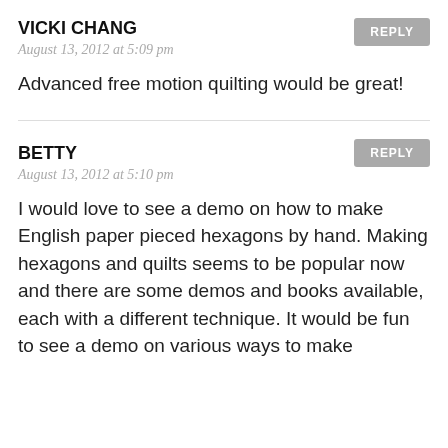VICKI CHANG
August 13, 2012 at 5:09 pm
Advanced free motion quilting would be great!
BETTY
August 13, 2012 at 5:10 pm
I would love to see a demo on how to make English paper pieced hexagons by hand. Making hexagons and quilts seems to be popular now and there are some demos and books available, each with a different technique. It would be fun to see a demo on various ways to make